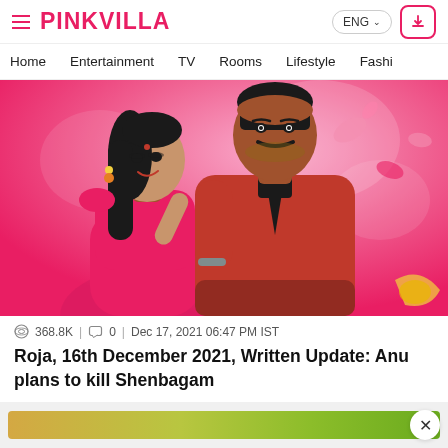PINKVILLA — ENG
Home | Entertainment | TV | Rooms | Lifestyle | Fashion
[Figure (photo): A smiling woman in a pink outfit and a man in a red suit posing together against a pink floral background — promotional still from Indian TV serial Roja.]
368.8K | 0 | Dec 17, 2021 06:47 PM IST
Roja, 16th December 2021, Written Update: Anu plans to kill Shenbagam
[Figure (infographic): Bottom banner advertisement strip with yellow-green gradient color.]